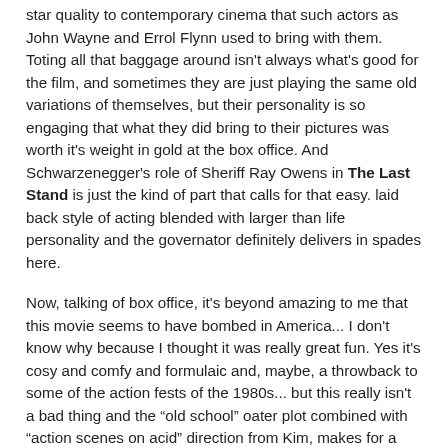star quality to contemporary cinema that such actors as John Wayne and Errol Flynn used to bring with them. Toting all that baggage around isn't always what's good for the film, and sometimes they are just playing the same old variations of themselves, but their personality is so engaging that what they did bring to their pictures was worth it's weight in gold at the box office. And Schwarzenegger's role of Sheriff Ray Owens in The Last Stand is just the kind of part that calls for that easy. laid back style of acting blended with larger than life personality and the governator definitely delivers in spades here.
Now, talking of box office, it's beyond amazing to me that this movie seems to have bombed in America... I don't know why because I thought it was really great fun. Yes it's cosy and comfy and formulaic and, maybe, a throwback to some of the action fests of the 1980s... but this really isn't a bad thing and the "old school" oater plot combined with "action scenes on acid" direction from Kim, makes for a considerably entertaining time at the local cinema and, just in case some of the contemporary movie audiences these days have possibly forgotten this... art can also be entertainment and